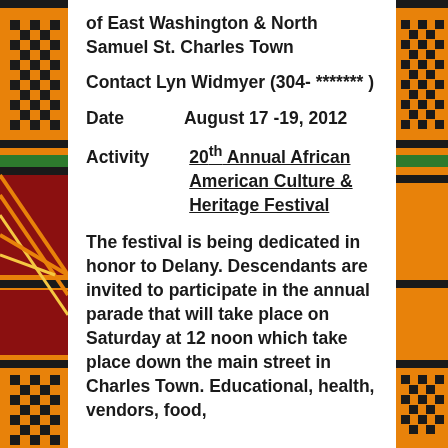Location   County grounds, corner of East Washington & North Samuel St. Charles Town
Contact Lyn Widmyer (304- ******* )
Date   August 17 -19, 2012
Activity   20th Annual African American Culture & Heritage Festival
The festival is being dedicated in honor to Delany.  Descendants are invited to participate in the annual parade that will take place on Saturday at 12 noon which take place down the main street in Charles Town.  Educational, health, vendors, food,